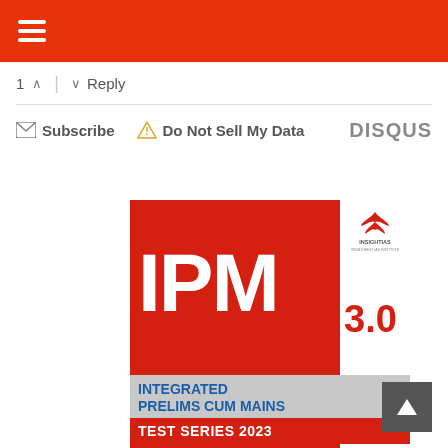≡ (hamburger menu)
1 ^ | v Reply
✉ Subscribe  ⚠ Do Not Sell My Data  DISQUS
[Figure (logo): IPM 3.0 Integrated Prelims Cum Mains Test Series 2023 — InsightIAS book cover with large red background, IPM in white bold text, 3.0 in red on white, gray band with blue text 'INTEGRATED PRELIMS CUM MAINS', red strip with white text 'TEST SERIES 2023' and InsightIAS logo at top right]